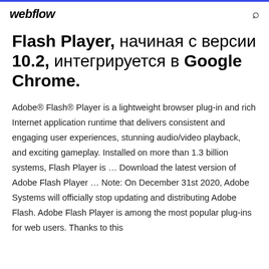webflow
Flash Player, начиная с версии 10.2, интегрируется в Google Chrome.
Adobe® Flash® Player is a lightweight browser plug-in and rich Internet application runtime that delivers consistent and engaging user experiences, stunning audio/video playback, and exciting gameplay. Installed on more than 1.3 billion systems, Flash Player is ... Download the latest version of Adobe Flash Player ... Note: On December 31st 2020, Adobe Systems will officially stop updating and distributing Adobe Flash. Adobe Flash Player is among the most popular plug-ins for web users. Thanks to this